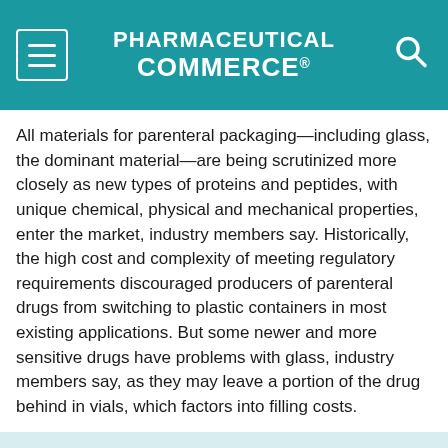PHARMACEUTICAL COMMERCE
All materials for parenteral packaging—including glass, the dominant material—are being scrutinized more closely as new types of proteins and peptides, with unique chemical, physical and mechanical properties, enter the market, industry members say. Historically, the high cost and complexity of meeting regulatory requirements discouraged producers of parenteral drugs from switching to plastic containers in most existing applications. But some newer and more sensitive drugs have problems with glass, industry members say, as they may leave a portion of the drug behind in vials, which factors into filling costs.
This website stores data such as cookies to enable essential site functionality, as well as marketing, personalization, and analytics. Cookie Policy
Accept
Deny